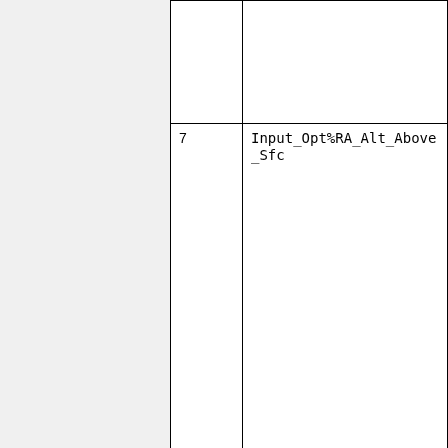|  |  |
| --- | --- |
|  |  |
| 7 | Input_Opt%RA_Alt_Above_Sfc |
--Bob Yantosca (talk) 20:45, 9 December 2019 (UTC)
Chemistry
Line numbers are not part of the